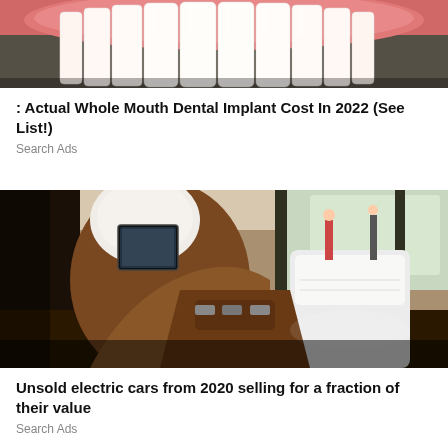[Figure (photo): Close-up photo of dental implants — white teeth with pink gum tissue visible at top, cropped showing only upper portion]
: Actual Whole Mouth Dental Implant Cost In 2022 (See List!)
Search Ads
[Figure (photo): Luxury car interior showing cream/white leather seats and rich brown wood accents, with a tablet screen on the headrest, fisheye perspective]
Unsold electric cars from 2020 selling for a fraction of their value
Search Ads